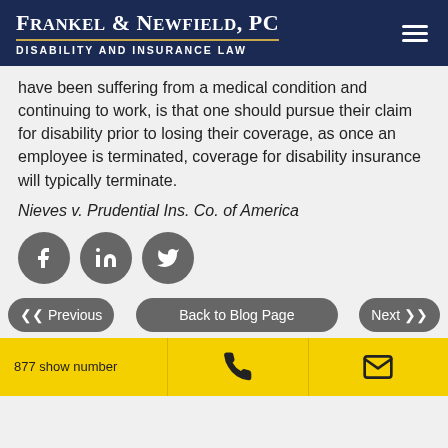Frankel & Newfield, PC | Disability and Insurance Law
have been suffering from a medical condition and continuing to work, is that one should pursue their claim for disability prior to losing their coverage, as once an employee is terminated, coverage for disability insurance will typically terminate.
Nieves v. Prudential Ins. Co. of America
[Figure (infographic): Social media share icons: Facebook, LinkedIn, Twitter — three circular dark grey buttons]
[Figure (infographic): Navigation buttons: Previous (left arrows), Back to Blog Page, Next (right arrows)]
877 show number | phone icon | email icon